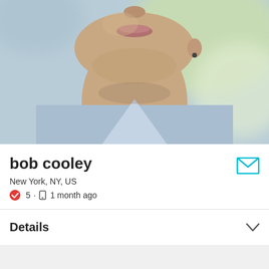[Figure (photo): Close-up portrait photo of a man (bob cooley) — lower face visible, wearing a blue shirt and ear ring, blurred green background]
bob cooley
New York, NY, US
✓ 5 · 📱 1 month ago
Details